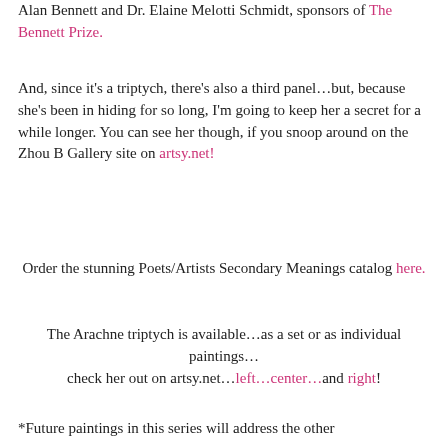Alan Bennett and Dr. Elaine Melotti Schmidt, sponsors of The Bennett Prize.
And, since it's a triptych, there's also a third panel…but, because she's been in hiding for so long, I'm going to keep her a secret for a while longer. You can see her though, if you snoop around on the Zhou B Gallery site on artsy.net!
Order the stunning Poets/Artists Secondary Meanings catalog here.
The Arachne triptych is available…as a set or as individual paintings… check her out on artsy.net…left…center…and right!
*Future paintings in this series will address the other